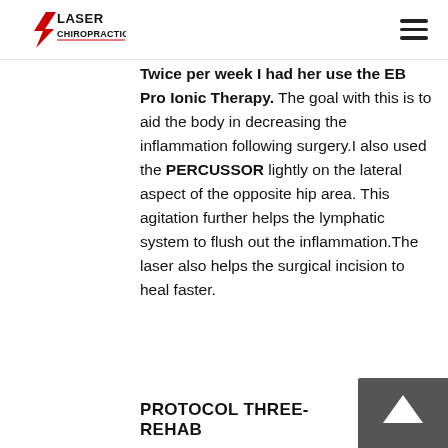LASER CHIROPRACTIC [logo] [hamburger menu]
Twice per week I had her use the EB Pro Ionic Therapy. The goal with this is to aid the body in decreasing the inflammation following surgery.I also used the PERCUSSOR lightly on the lateral aspect of the opposite hip area. This agitation further helps the lymphatic system to flush out the inflammation.The laser also helps the surgical incision to heal faster.
PROTOCOL THREE- REHAB